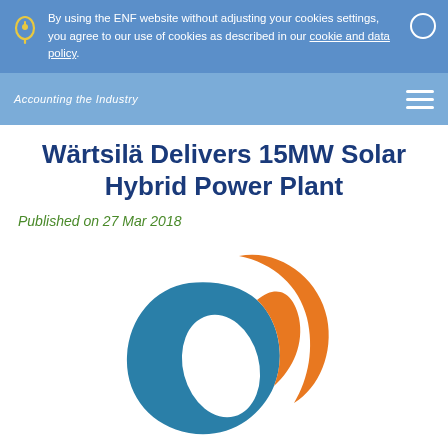By using the ENF website without adjusting your cookies settings, you agree to our use of cookies as described in our cookie and data policy.
Accounting the Industry
Wärtsilä Delivers 15MW Solar Hybrid Power Plant
Published on 27 Mar 2018
[Figure (logo): Circular logo with overlapping teal and orange crescent shapes forming a sphere-like design]